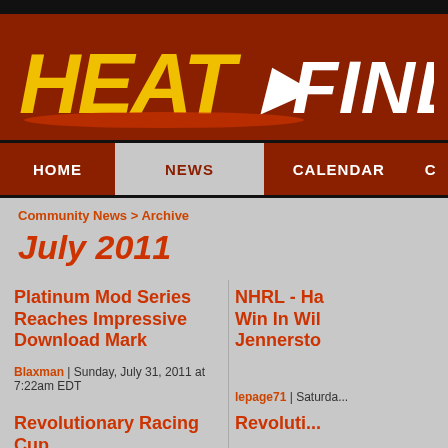HeatFinder
HOME | NEWS | CALENDAR
Community News > Archive
July 2011
Platinum Mod Series Reaches Impressive Download Mark
Blaxman | Sunday, July 31, 2011 at 7:22am EDT
NHRL - Ha... Win In Wil... Jennersto...
lepage71 | Saturda...
Revolutionary Racing Cup
Revoluti...